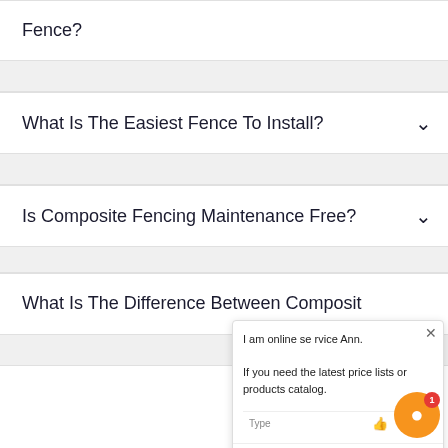Fence?
What Is The Easiest Fence To Install?
Is Composite Fencing Maintenance Free?
What Is The Difference Between Composite Fencing And Vinyl Fencin
I am online service Ann.

If you need the latest price lists or products catalog.

Type

Number or Email